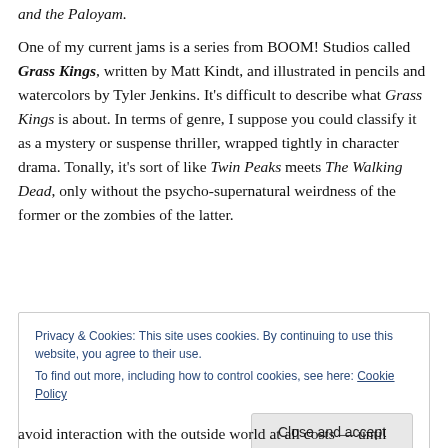and the Paloyam.
One of my current jams is a series from BOOM! Studios called Grass Kings, written by Matt Kindt, and illustrated in pencils and watercolors by Tyler Jenkins. It’s difficult to describe what Grass Kings is about. In terms of genre, I suppose you could classify it as a mystery or suspense thriller, wrapped tightly in character drama. Tonally, it’s sort of like Twin Peaks meets The Walking Dead, only without the psycho-supernatural weirdness of the former or the zombies of the latter.
Privacy & Cookies: This site uses cookies. By continuing to use this website, you agree to their use.
To find out more, including how to control cookies, see here: Cookie Policy
avoid interaction with the outside world at all costs — until